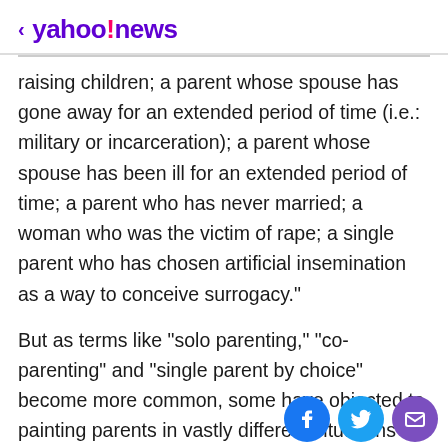< yahoo!news
raising children; a parent whose spouse has gone away for an extended period of time (i.e.: military or incarceration); a parent whose spouse has been ill for an extended period of time; a parent who has never married; a woman who was the victim of rape; a single parent who has chosen artificial insemination as a way to conceive surrogacy."
But as terms like "solo parenting," "co-parenting" and "single parent by choice" become more common, some have objected to painting parents in vastly different situations with the same brush. A woman raising a child without any support is in a different boat than, say, a divorcée sharing custody with her ex, though each